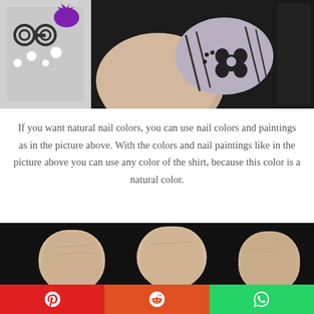[Figure (photo): Close-up photo of a finger with decorated nail art — grey nail with black flower and stripe patterns, next to nail polish bottles, one with purple splat design]
If you want natural nail colors, you can use nail colors and paintings as in the picture above. With the colors and nail paintings like in the picture above you can use any color of the shirt, because this color is a natural color.
[Figure (photo): Close-up photo of fingers with bare/unpainted nails against a dark background]
[Figure (screenshot): Social share bar with three buttons: Pinterest (red), Reddit (orange-red), WhatsApp (green)]